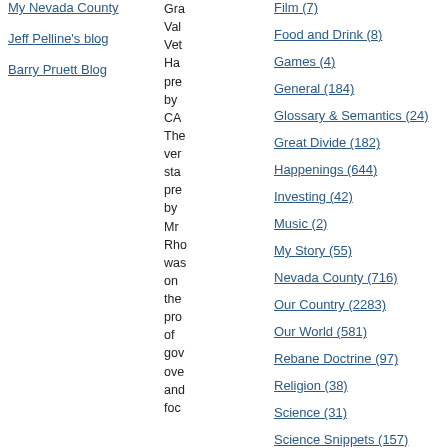My Nevada County
Jeff Pelline's blog
Barry Pruett Blog
Gra Val Vet Ha pre by CA The ver sta pre by Mr Rho was on the pro of gov ove and foc
Film (7)
Food and Drink (8)
Games (4)
General (184)
Glossary & Semantics (24)
Great Divide (182)
Happenings (644)
Investing (42)
Music (2)
My Story (55)
Nevada County (716)
Our Country (2283)
Our World (581)
Rebane Doctrine (97)
Religion (38)
Science (31)
Science Snippets (157)
Singularity Signposts (131)